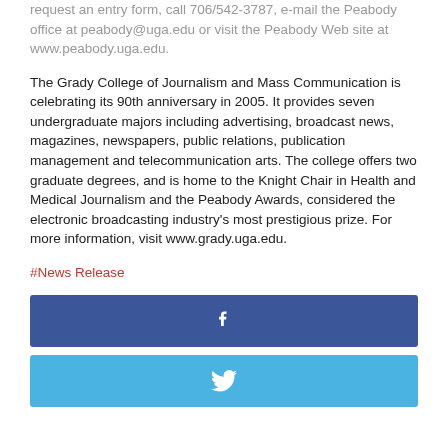request an entry form, call 706/542-3787, e-mail the Peabody office at peabody@uga.edu or visit the Peabody Web site at www.peabody.uga.edu.
The Grady College of Journalism and Mass Communication is celebrating its 90th anniversary in 2005. It provides seven undergraduate majors including advertising, broadcast news, magazines, newspapers, public relations, publication management and telecommunication arts. The college offers two graduate degrees, and is home to the Knight Chair in Health and Medical Journalism and the Peabody Awards, considered the electronic broadcasting industry's most prestigious prize. For more information, visit www.grady.uga.edu.
#News Release
[Figure (other): Facebook share button — dark blue rectangular button with white Facebook 'f' icon centered]
[Figure (other): Twitter share button — light blue rectangular button with white Twitter bird icon centered]